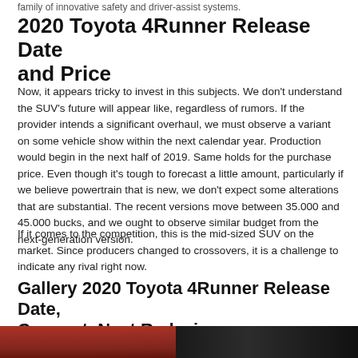family of innovative safety and driver-assist systems.
2020 Toyota 4Runner Release Date and Price
Now, it appears tricky to invest in this subjects. We don't understand the SUV's future will appear like, regardless of rumors. If the provider intends a significant overhaul, we must observe a variant on some vehicle show within the next calendar year. Production would begin in the next half of 2019. Same holds for the purchase price. Even though it's tough to forecast a little amount, particularly if we believe powertrain that is new, we don't expect some alterations that are substantial. The recent versions move between 35.000 and 45.000 bucks, and we ought to observe similar budget from the next-generation version.
If it comes to the competition, this is the mid-sized SUV on the market. Since producers changed to crossovers, it is a challenge to indicate any rival right now.
Gallery 2020 Toyota 4Runner Release Date, Concept, Next Redesign
[Figure (photo): Two photos of the 2020 Toyota 4Runner — a red SUV on the left and a black front grille close-up on the right.]